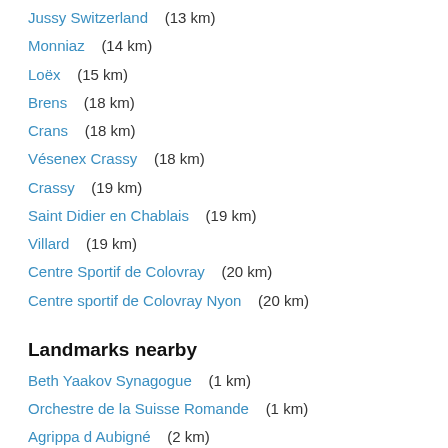Jussy Switzerland    (13 km)
Monniaz    (14 km)
Loëx    (15 km)
Brens    (18 km)
Crans    (18 km)
Vésenex Crassy    (18 km)
Crassy    (19 km)
Saint Didier en Chablais    (19 km)
Villard    (19 km)
Centre Sportif de Colovray    (20 km)
Centre sportif de Colovray Nyon    (20 km)
Landmarks nearby
Beth Yaakov Synagogue    (1 km)
Orchestre de la Suisse Romande    (1 km)
Agrippa d Aubigné    (2 km)
Bau und Holzarbeiter Internationale    (2 km)
Breken Choir    (2 km)